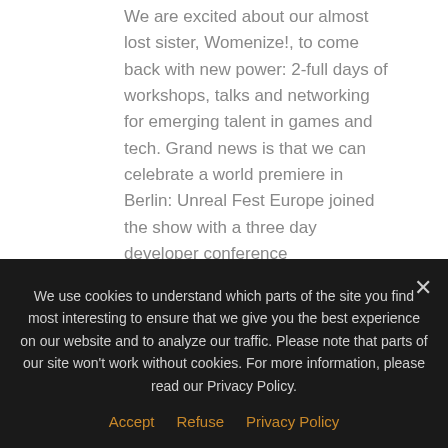We are excited about our almost lost sister, Womenize!, to come back with new power: 2-full days of workshops, talks and networking for emerging talent in games and tech. Grand news is that we can celebrate a world premiere in Berlin: Unreal Fest Europe joined the show with a three day developer conference
We use cookies to understand which parts of the site you find most interesting to ensure that we give you the best experience on our website and to analyze our traffic. Please note that parts of our site won't work without cookies. For more information, please read our Privacy Policy.
Accept   Refuse   Privacy Policy